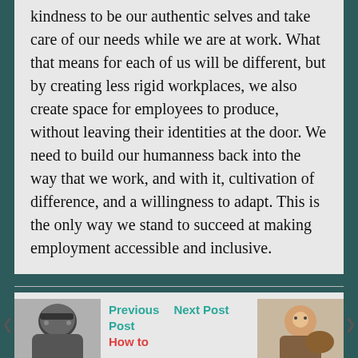kindness to be our authentic selves and take care of our needs while we are at work. What that means for each of us will be different, but by creating less rigid workplaces, we also create space for employees to produce, without leaving their identities at the door. We need to build our humanness back into the way that we work, and with it, cultivation of difference, and a willingness to adapt. This is the only way we stand to succeed at making employment accessible and inclusive.
[Figure (photo): Black and white photo of a person with glasses, eyes closed or downcast, dark hair]
Previous Post
Next Post
How to
[Figure (photo): Color photo of a person with a dog, sitting in a car]